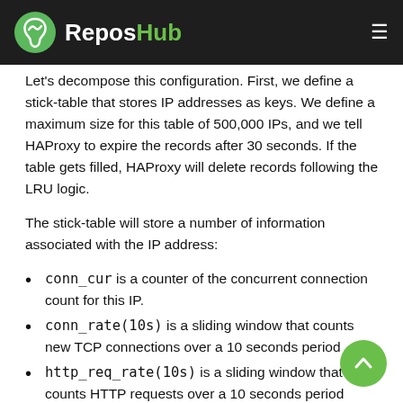ReposHub
Let's decompose this configuration. First, we define a stick-table that stores IP addresses as keys. We define a maximum size for this table of 500,000 IPs, and we tell HAProxy to expire the records after 30 seconds. If the table gets filled, HAProxy will delete records following the LRU logic.
The stick-table will store a number of information associated with the IP address:
conn_cur is a counter of the concurrent connection count for this IP.
conn_rate(10s) is a sliding window that counts new TCP connections over a 10 seconds period
http_req_rate(10s) is a sliding window that counts HTTP requests over a 10 seconds period
http_err_rate(10s) is a sliding window that counts HTTP errors triggered by requests from that IP